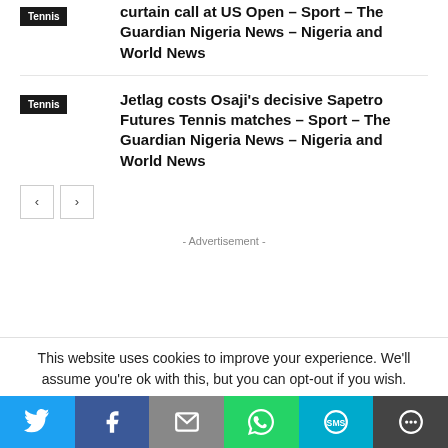curtain call at US Open – Sport – The Guardian Nigeria News – Nigeria and World News
Tennis
Jetlag costs Osaji's decisive Sapetro Futures Tennis matches – Sport – The Guardian Nigeria News – Nigeria and World News
Tennis
‹ ›
- Advertisement -
This website uses cookies to improve your experience. We'll assume you're ok with this, but you can opt-out if you wish.
[Figure (infographic): Social share bar with icons: Twitter (blue), Facebook (dark blue), Email (grey), WhatsApp (green), SMS (light blue), More (dark grey)]